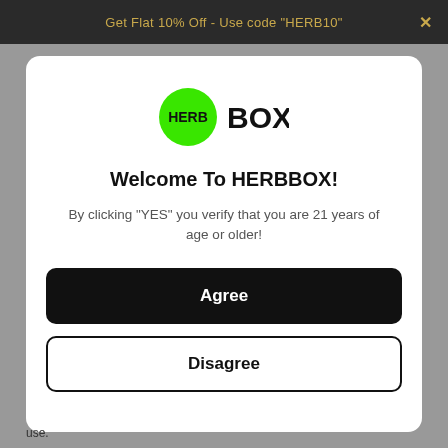Get Flat 10% Off - Use code "HERB10"
[Figure (logo): HERBBOX logo: green circle with HERB text inside, followed by BOX in black]
Welcome To HERBBOX!
By clicking "YES" you verify that you are 21 years of age or older!
Agree
Disagree
use.